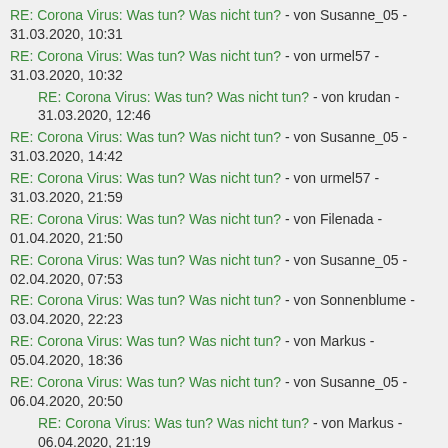RE: Corona Virus: Was tun? Was nicht tun? - von Susanne_05 - 31.03.2020, 10:31
RE: Corona Virus: Was tun? Was nicht tun? - von urmel57 - 31.03.2020, 10:32
RE: Corona Virus: Was tun? Was nicht tun? - von krudan - 31.03.2020, 12:46
RE: Corona Virus: Was tun? Was nicht tun? - von Susanne_05 - 31.03.2020, 14:42
RE: Corona Virus: Was tun? Was nicht tun? - von urmel57 - 31.03.2020, 21:59
RE: Corona Virus: Was tun? Was nicht tun? - von Filenada - 01.04.2020, 21:50
RE: Corona Virus: Was tun? Was nicht tun? - von Susanne_05 - 02.04.2020, 07:53
RE: Corona Virus: Was tun? Was nicht tun? - von Sonnenblume - 03.04.2020, 22:23
RE: Corona Virus: Was tun? Was nicht tun? - von Markus - 05.04.2020, 18:36
RE: Corona Virus: Was tun? Was nicht tun? - von Susanne_05 - 06.04.2020, 20:50
RE: Corona Virus: Was tun? Was nicht tun? - von Markus - 06.04.2020, 21:19
RE: Corona Virus: Was tun? Was nicht tun? - von Susanne_05 - 06.04.2020, 21:42